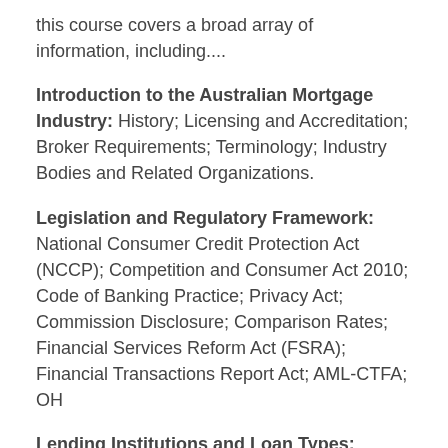this course covers a broad array of information, including....
Introduction to the Australian Mortgage Industry: History; Licensing and Accreditation; Broker Requirements; Terminology; Industry Bodies and Related Organizations.
Legislation and Regulatory Framework: National Consumer Credit Protection Act (NCCP); Competition and Consumer Act 2010; Code of Banking Practice; Privacy Act; Commission Disclosure; Comparison Rates; Financial Services Reform Act (FSRA); Financial Transactions Report Act; AML-CTFA; OH
Lending Institutions and Loan Types: Banks; Credit Unions; Building Societies; Securitized Lenders; Non-Conforming Lenders; Owner-Occupied Mortgage; Residential Investment